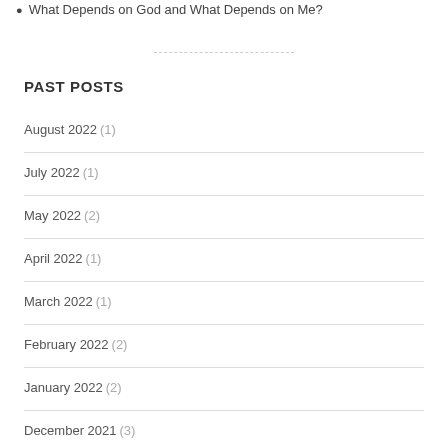What Depends on God and What Depends on Me?
PAST POSTS
August 2022 (1)
July 2022 (1)
May 2022 (2)
April 2022 (1)
March 2022 (1)
February 2022 (2)
January 2022 (2)
December 2021 (3)